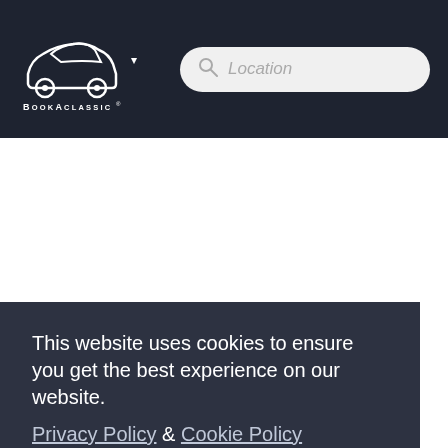[Figure (logo): BookAClassic logo — white silhouette of a classic car above the text BOOKACLASSIC with a registered trademark symbol, on a dark navy background. A dropdown arrow appears to the right of the logo.]
[Figure (screenshot): Search bar with magnifying glass icon and 'Location' placeholder text in italic, on a light grey rounded pill-shaped background.]
This website uses cookies to ensure you get the best experience on our website. Privacy Policy & Cookie Policy
I understand